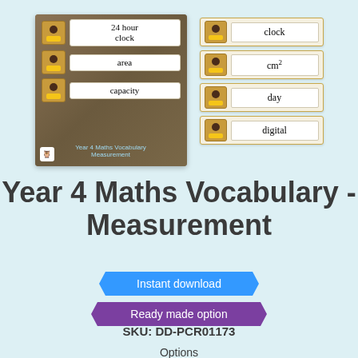[Figure (illustration): Left preview image showing vocabulary cards with '24 hour clock', 'area', 'capacity' on a wood-textured background with a character icon and text 'Year 4 Maths Vocabulary Measurement']
[Figure (illustration): Right preview showing individual vocabulary cards for 'clock', 'cm²', 'day', 'digital' each with a character icon on a light background]
Year 4 Maths Vocabulary - Measurement
Instant download
Ready made option
SKU: DD-PCR01173
Options